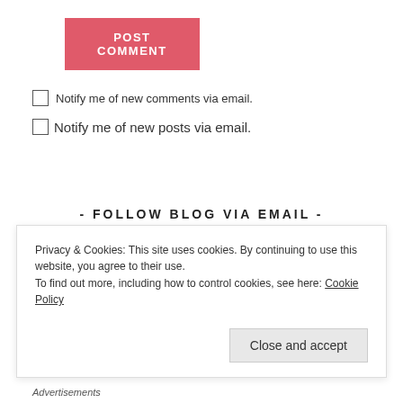POST COMMENT
Notify me of new comments via email.
Notify me of new posts via email.
- FOLLOW BLOG VIA EMAIL -
Enter your email address to follow this blog and receive notifications of new posts by email.
Enter your email address
Privacy & Cookies: This site uses cookies. By continuing to use this website, you agree to their use.
To find out more, including how to control cookies, see here: Cookie Policy
Close and accept
Advertisements